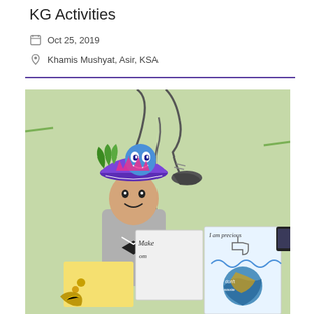KG Activities
Oct 25, 2019
Khamis Mushyat, Asir, KSA
[Figure (photo): A child wearing a colorful decorated hat with a blue cartoon face, holding up artwork posters with text including 'Make', 'I am precious', in front of a green wall mural of a running figure.]